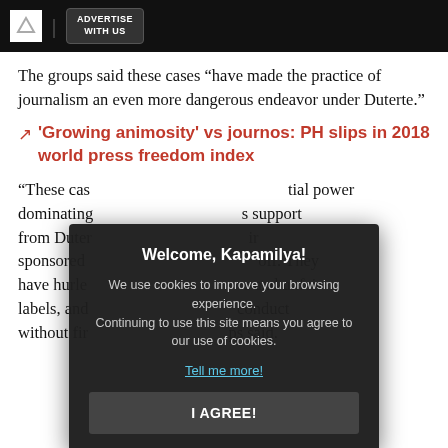ADVERTISE WITH US
The groups said these cases “have made the practice of journalism an even more dangerous endeavor under Duterte.”
'Growing animosity' vs journos: PH slips in 2018 world press freedom index
“These cases [demonstrate] the abuse of judicial power dominating [with] support from Duterte [and their] sponsored [attacks] off. They have hurled [attacks] and unfair labels, and [engaged in] conduct without first [addressing the] ps said.
[Figure (screenshot): Cookie consent modal with title 'Welcome, Kapamilya!', body text about cookies, a 'Tell me more!' link, and an 'I AGREE!' button on dark background overlay.]
“These cases linger amid effete efforts at solution by state agencies, and in the context of the hostile and vicious discourse against the administration’s critics